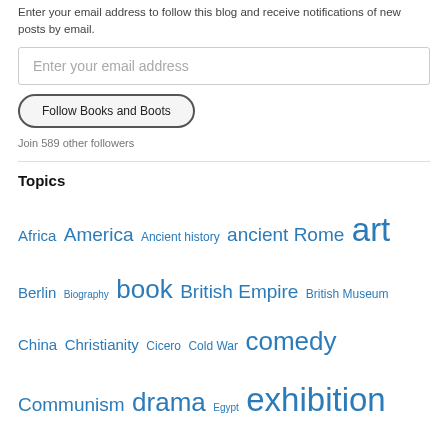Enter your email address to follow this blog and receive notifications of new posts by email.
Enter your email address
Follow Books and Boots
Join 589 other followers
Topics
Africa America Ancient history ancient Rome art Berlin Biography book British Empire British Museum China Christianity Cicero Cold War comedy Communism drama Egypt exhibition Feminism fiction First World War France George Orwell Germany Graham Greene Great War